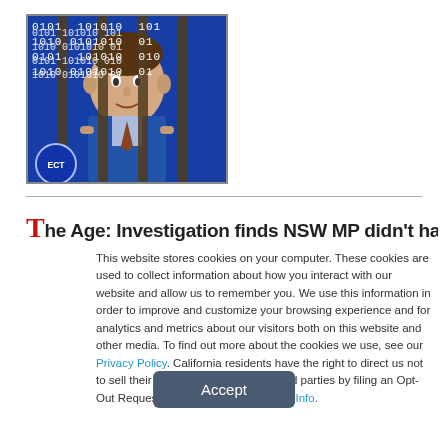[Figure (photo): A person behind vertical bars with binary code overlay (0101, 1010 pattern) on a blue background. An ECT logo badge is in the bottom-left corner.]
The Age: Investigation finds NSW MP didn't hack 30-Aug-
This website stores cookies on your computer. These cookies are used to collect information about how you interact with our website and allow us to remember you. We use this information in order to improve and customize your browsing experience and for analytics and metrics about our visitors both on this website and other media. To find out more about the cookies we use, see our Privacy Policy. California residents have the right to direct us not to sell their personal information to third parties by filing an Opt-Out Request: Do Not Sell My Personal Info.
Accept